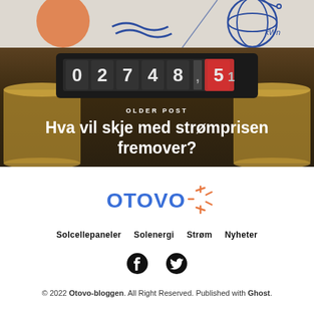[Figure (photo): Hero image showing a close-up of stacked coins in the background with an electricity meter displaying 02748,5 in the middle, and a top strip with illustrated globe and wave graphics. Overlaid text reads OLDER POST above the article title.]
Hva vil skje med strømprisen fremover?
[Figure (logo): Otovo logo - blue text OTOVO with an orange starburst/spark icon to the right]
Solcellepaneler
Solenergi
Strøm
Nyheter
[Figure (infographic): Facebook and Twitter social media icons in black]
© 2022 Otovo-bloggen. All Right Reserved. Published with Ghost.